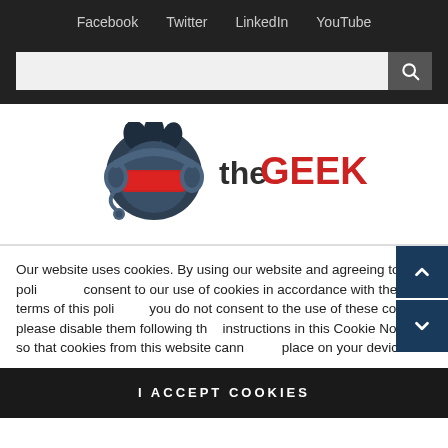Facebook  Twitter  LinkedIn  YouTube
[Figure (other): Search bar with text input and search button]
[Figure (logo): TheGeek logo — cartoon character wearing VR headset and headphones with text 'theGEEK' in dark and red lettering]
Our website uses cookies. By using our website and agreeing to this policy you consent to our use of cookies in accordance with the terms of this policy. If you do not consent to the use of these cookies please disable them following the instructions in this Cookie Notice so that cookies from this website cannot be placed on your device.
I ACCEPT COOKIES